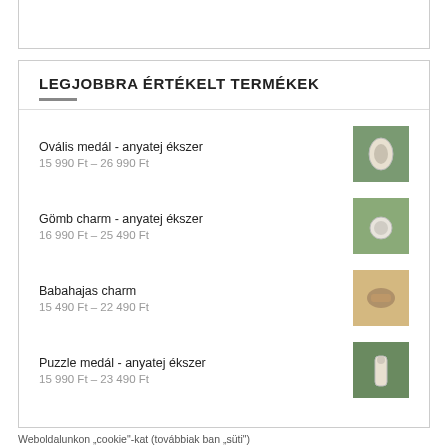LEGJOBBRA ÉRTÉKELT TERMÉKEK
Ovális medál - anyatej ékszer
15 990 Ft – 26 990 Ft
Gömb charm - anyatej ékszer
16 990 Ft – 25 490 Ft
Babahajas charm
15 490 Ft – 22 490 Ft
Puzzle medál - anyatej ékszer
15 990 Ft – 23 490 Ft
Weboldalunkon „cookie"-kat (továbbiak ban „süti")